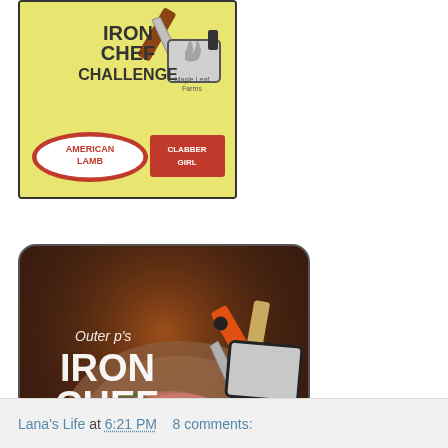[Figure (illustration): Iron Chef Challenge promotional image with yellow background showing knife and cleaver, American Lamb and Clabber Girl logos]
[Figure (illustration): Outer Ps Iron Chef Challenge promotional image with dark brown background showing a plate of meat, knife and cleaver, Maple Leaf Farms logo, dated January 14-22]
Lana's Life at 6:21 PM   8 comments: